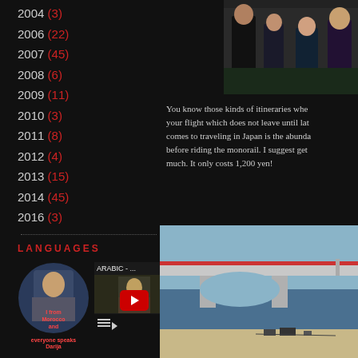2004 (3)
2006 (22)
2007 (45)
2008 (6)
2009 (11)
2010 (3)
2011 (8)
2012 (4)
2013 (15)
2014 (45)
2016 (3)
LANGUAGES
[Figure (screenshot): YouTube video thumbnail showing ARABIC - ... with circular profile photo of person from Morocco, text overlay saying 'I from Morocco and everyone speaks Darija']
[Figure (photo): Photo of people in formal attire, possibly on a train or in a formal setting]
You know those kinds of itineraries whe... your flight which does not leave until lat... comes to traveling in Japan is the abunda... before riding the monorail. I suggest get... much. It only costs 1,200 yen!
[Figure (photo): Photo of a bridge over water with a sandy beach and boats/people in the foreground]